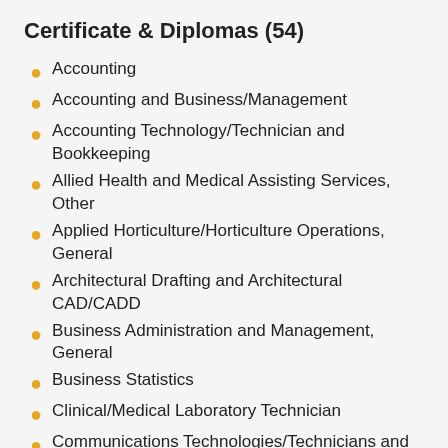Certificate & Diplomas (54)
Accounting
Accounting and Business/Management
Accounting Technology/Technician and Bookkeeping
Allied Health and Medical Assisting Services, Other
Applied Horticulture/Horticulture Operations, General
Architectural Drafting and Architectural CAD/CADD
Business Administration and Management, General
Business Statistics
Clinical/Medical Laboratory Technician
Communications Technologies/Technicians and Support Services, Other
Computer and Information Systems Security/Information Assurance